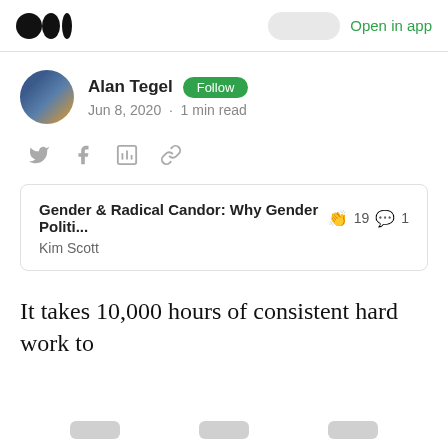Open in app
Alan Tegel  Follow
Jun 8, 2020 · 1 min read
Gender & Radical Candor: Why Gender Politi... 👏 19 💬 1
Kim Scott
It takes 10,000 hours of consistent hard work to